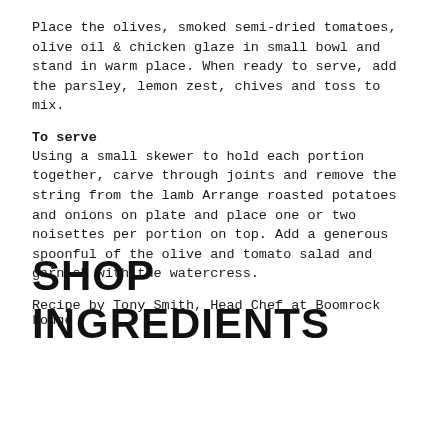Place the olives, smoked semi-dried tomatoes, olive oil & chicken glaze in small bowl and stand in warm place. When ready to serve, add the parsley, lemon zest, chives and toss to mix.
To serve
Using a small skewer to hold each portion together, carve through joints and remove the string from the lamb Arrange roasted potatoes and onions on plate and place one or two noisettes per portion on top. Add a generous spoonful of the olive and tomato salad and garnish with the watercress.
Recipe by Tony Smith, Head Chef at Boomrock Lodge
SHOP INGREDIENTS